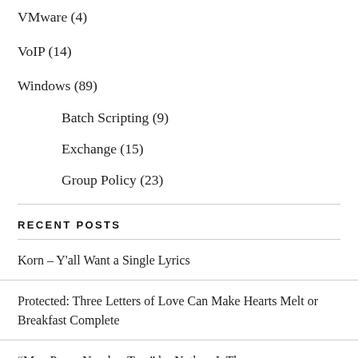VMware (4)
VoIP (14)
Windows (89)
Batch Scripting (9)
Exchange (15)
Group Policy (23)
RECENT POSTS
Korn – Y'all Want a Single Lyrics
Protected: Three Letters of Love Can Make Hearts Melt or Breakfast Complete
“Man Poem Number Two” by Nathan J. Thomas